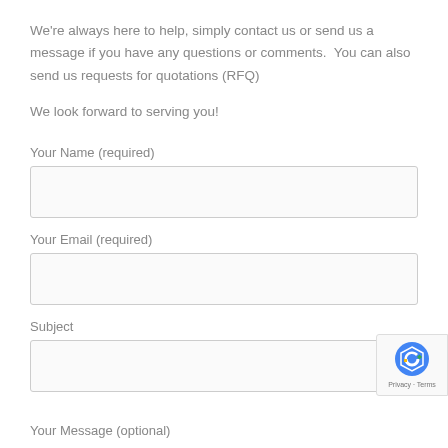We're always here to help, simply contact us or send us a message if you have any questions or comments.  You can also send us requests for quotations (RFQ)
We look forward to serving you!
Your Name (required)
Your Email (required)
Subject
Your Message (optional)